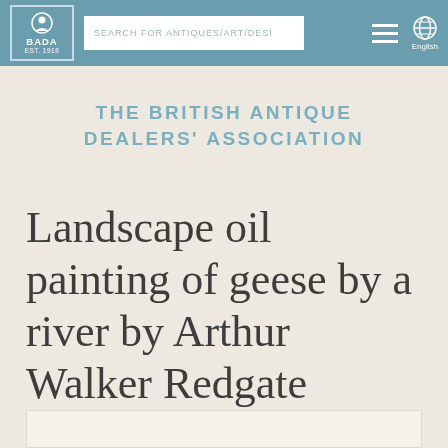BADA EST. 1918 | SEARCH FOR ANTIQUES/ART/DESI | English
THE BRITISH ANTIQUE DEALERS' ASSOCIATION
Landscape oil painting of geese by a river by Arthur Walker Redgate
[Figure (photo): Partial image placeholder at bottom of page]